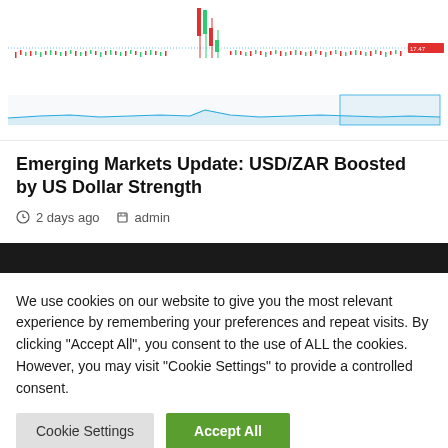[Figure (continuous-plot): USD/ZAR financial chart showing candlestick price data with a line chart below (navigator/overview chart). Time axis spans from 2019 to 2022. Chart shows a sharp drop/spike in the middle period. Red label visible on the right side. Navigation controls visible below the chart.]
Emerging Markets Update: USD/ZAR Boosted by US Dollar Strength
2 days ago  admin
We use cookies on our website to give you the most relevant experience by remembering your preferences and repeat visits. By clicking "Accept All", you consent to the use of ALL the cookies. However, you may visit "Cookie Settings" to provide a controlled consent.